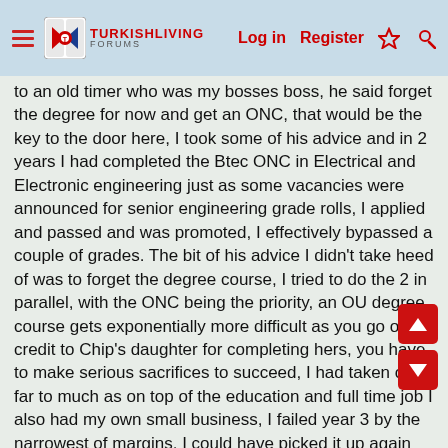TurkishLiving Forums — Log in | Register
to an old timer who was my bosses boss, he said forget the degree for now and get an ONC, that would be the key to the door here, I took some of his advice and in 2 years I had completed the Btec ONC in Electrical and Electronic engineering just as some vacancies were announced for senior engineering grade rolls, I applied and passed and was promoted, I effectively bypassed a couple of grades. The bit of his advice I didn't take heed of was to forget the degree course, I tried to do the 2 in parallel, with the ONC being the priority, an OU degree course gets exponentially more difficult as you go on, credit to Chip's daughter for completing hers, you have to make serious sacrifices to succeed, I had taken on far to much as on top of the education and full time job I also had my own small business, I failed year 3 by the narrowest of margins. I could have picked it up again quite easily but chose not to. I had got to where I wanted to be at that moment in time later moving into lower management.
I eventually left and went full time into my own business retiring at 59.
I learned an awful lot on the degree course that I couldn't have